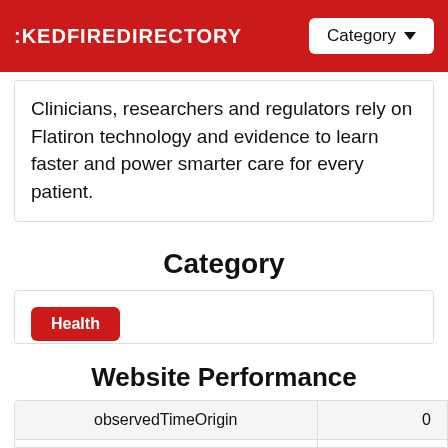KEDFIREDIRECTORY  Category
Clinicians, researchers and regulators rely on Flatiron technology and evidence to learn faster and power smarter care for every patient.
Category
Health
Website Performance
|  |  |
| --- | --- |
| observedTimeOrigin | 0 |
| firstContentfulPaint | 0.5 |
| observedSpeedIndexTs | 114933 |